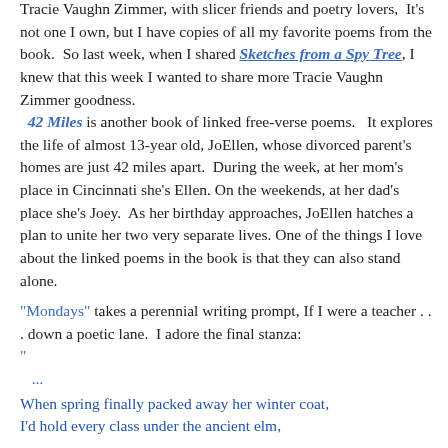Tracie Vaughn Zimmer, with slicer friends and poetry lovers,  It's not one I own, but I have copies of all my favorite poems from the book.  So last week, when I shared Sketches from a Spy Tree, I knew that this week I wanted to share more Tracie Vaughn Zimmer goodness.  42 Miles is another book of linked free-verse poems.   It explores the life of almost 13-year old, JoEllen, whose divorced parent's homes are just 42 miles apart.  During the week, at her mom's place in Cincinnati she's Ellen. On the weekends, at her dad's place she's Joey.  As her birthday approaches, JoEllen hatches a plan to unite her two very separate lives. One of the things I love about the linked poems in the book is that they can also stand alone.
"Mondays" takes a perennial writing prompt, If I were a teacher . . . down a poetic lane.  I adore the final stanza: "...
When spring finally packed away her winter coat, I'd hold every class under the ancient elm,